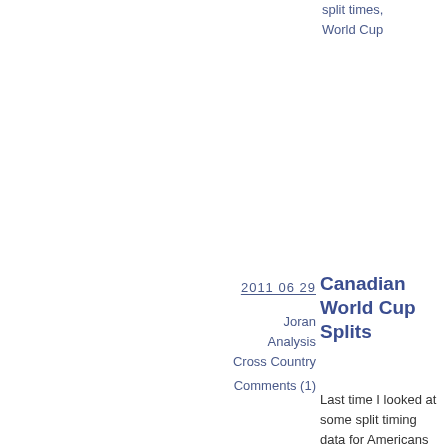split times, World Cup
2011 06 29
Joran
Analysis
Cross Country
Comments (1)
Canadian World Cup Splits
Last time I looked at some split timing data for Americans in